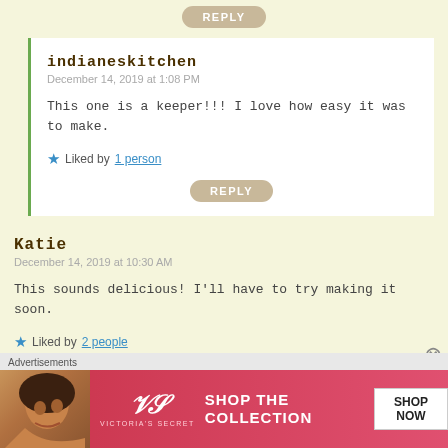[Figure (screenshot): Reply button at top, styled as rounded pill shape in beige/tan color with text REPLY]
indianeskitchen
December 14, 2019 at 1:08 PM
This one is a keeper!!! I love how easy it was to make.
Liked by 1 person
[Figure (screenshot): Reply button styled as rounded pill shape in beige/tan color with text REPLY]
Katie
December 14, 2019 at 10:30 AM
This sounds delicious! I'll have to try making it soon.
Liked by 2 people
[Figure (screenshot): Reply button styled as rounded pill shape in beige/tan color with text REPLY]
Advertisements
[Figure (photo): Victoria's Secret advertisement banner with woman model, VS logo, SHOP THE COLLECTION text, and SHOP NOW button]